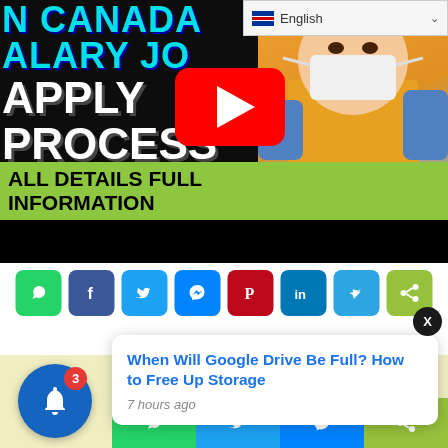[Figure (screenshot): YouTube video thumbnail showing text 'IN CANADA SALARY JOB APPLY PROCESS ALL DETAILS FULL INFORMATION' with a person wearing blue gloves and a mask on right side, YouTube play button in center]
[Figure (screenshot): Language selector dropdown showing English with flag icon]
[Figure (infographic): Row of social share buttons: WhatsApp, Facebook, Twitter, Messenger, Pinterest, LinkedIn, Telegram, ShareThis]
[Figure (screenshot): Notification popup card with title 'When Will Google Drive Be Full? How to Free Up Storage' and timestamp '7 hours ago', with close button X, bell notification icon with badge '3', and bottom share buttons row]